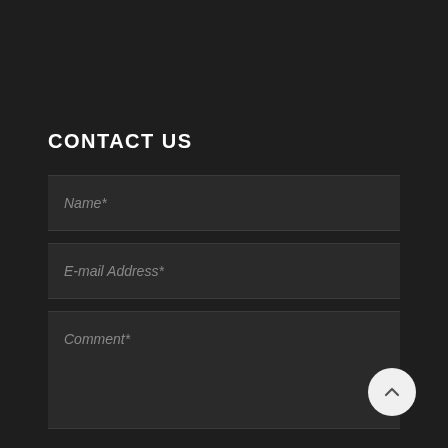CONTACT US
Name*
E-mail Address*
Comment*